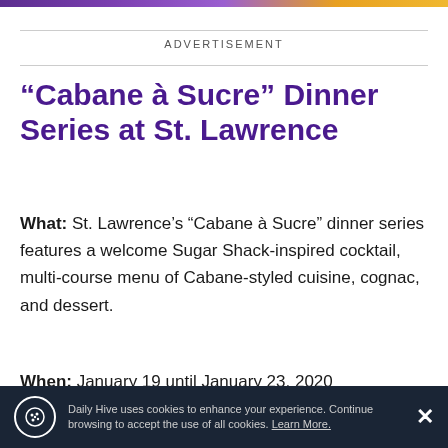ADVERTISEMENT
“Cabane à Sucre” Dinner Series at St. Lawrence
What: St. Lawrence’s “Cabane à Sucre” dinner series features a welcome Sugar Shack-inspired cocktail, multi-course menu of Cabane-styled cuisine, cognac, and dessert.
When: January 19 until January 23, 2020
Time: Seatings at 5:30 pm and 8 pm
Daily Hive uses cookies to enhance your experience. Continue browsing to accept the use of all cookies. Learn More.